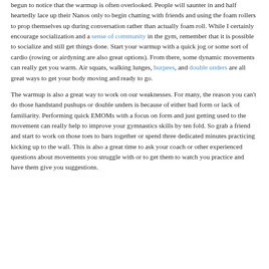begun to notice that the warmup is often overlooked. People will saunter in and half heartedly lace up their Nanos only to begin chatting with friends and using the foam rollers to prop themselves up during conversation rather than actually foam roll. While I certainly encourage socialization and a sense of community in the gym, remember that it is possible to socialize and still get things done. Start your warmup with a quick jog or some sort of cardio (rowing or airdyning are also great options). From there, some dynamic movements can really get you warm. Air squats, walking lunges, burpees, and double unders are all great ways to get your body moving and ready to go.
The warmup is also a great way to work on our weaknesses. For many, the reason you can't do those handstand pushups or double unders is because of either bad form or lack of familiarity. Performing quick EMOMs with a focus on form and just getting used to the movement can really help to improve your gymnastics skills by ten fold. So grab a friend and start to work on those toes to bars together or spend three dedicated minutes practicing kicking up to the wall. This is also a great time to ask your coach or other experienced questions about movements you struggle with or to get them to watch you practice and have them give you suggestions.